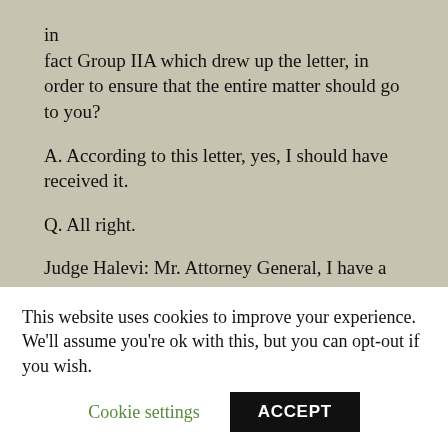in
fact Group IIA which drew up the letter, in order to ensure that the entire matter should go to you?
A. According to this letter, yes, I should have received it.
Q. All right.
Judge Halevi: Mr. Attorney General, I have a question which concerns yesterday’s session. I believe you said that in the Generalgouvernement there was a permanent representative
This website uses cookies to improve your experience. We’ll assume you’re ok with this, but you can opt-out if you wish.
Cookie settings
ACCEPT